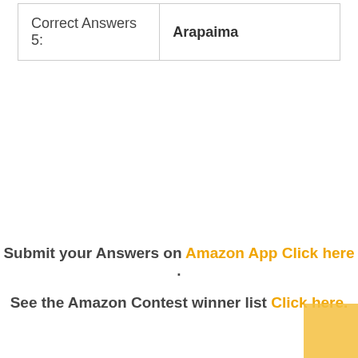| Correct Answers 5: | Arapaima |
Submit your Answers on Amazon App Click here .
See the Amazon Contest winner list Click here.